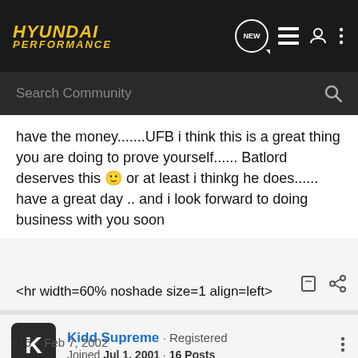HYUNDAI PERFORMANCE
Search Community
have the money.......UFB i think this is a great thing you are doing to prove yourself...... Batlord deserves this 🙂 or at least i thinkg he does...... have a great day .. and i look forward to doing business with you soon
<hr width=60% noshade size=1 align=left>
Kidd Supreme · Registered
Joined Jul 1, 2001 · 16 Posts
#16 · Feb 7, 2002